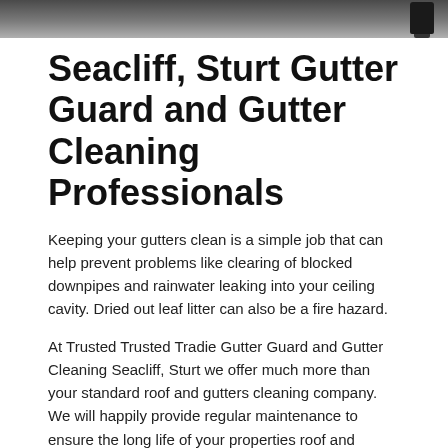[Figure (photo): Top portion of a photo showing a roof/gutter, with a dark camera or device visible at the upper right edge.]
Seacliff, Sturt Gutter Guard and Gutter Cleaning Professionals
Keeping your gutters clean is a simple job that can help prevent problems like clearing of blocked downpipes and rainwater leaking into your ceiling cavity. Dried out leaf litter can also be a fire hazard.
At Trusted Trusted Tradie Gutter Guard and Gutter Cleaning Seacliff, Sturt we offer much more than your standard roof and gutters cleaning company. We will happily provide regular maintenance to ensure the long life of your properties roof and gutters — significantly reducing the risk of fire hazards, ceiling leaks and water damage.
Trusted Tradie will: